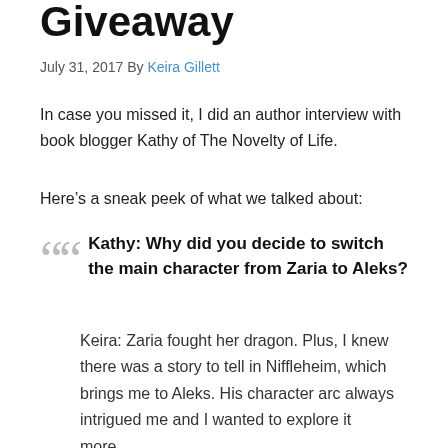Giveaway
July 31, 2017 By Keira Gillett
In case you missed it, I did an author interview with book blogger Kathy of The Novelty of Life.
Here’s a sneak peek of what what we talked about:
Kathy: Why did you decide to switch the main character from Zaria to Aleks?
Keira: Zaria fought her dragon. Plus, I knew there was a story to tell in Niffleheim, which brings me to Aleks. His character arc always intrigued me and I wanted to explore it more…